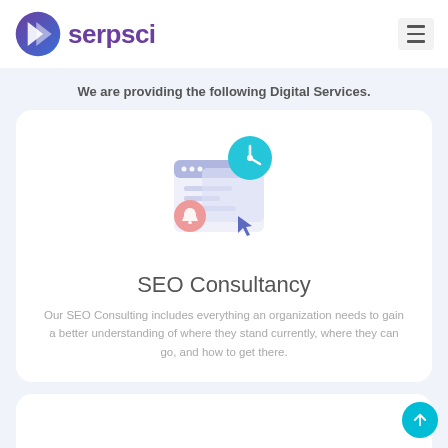serpsci
We are providing the following Digital Services.
[Figure (illustration): SEO Consultancy illustration showing a browser window with lines of text, a cyan clock/globe icon, a salmon/orange notification bell, and a blue cursor arrow]
SEO Consultancy
Our SEO Consulting includes everything an organization needs to gain a better understanding of where they stand currently, where they can go, and how to get there.